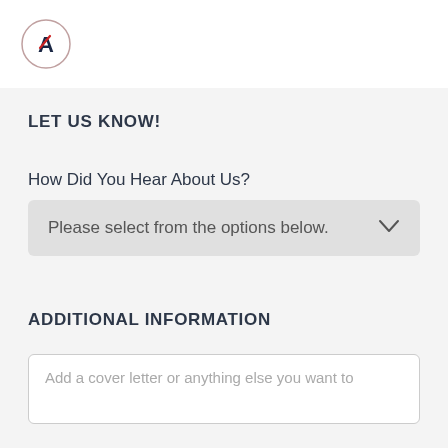[Figure (logo): Company logo with letter A inside a circle with a diagonal red slash]
LET US KNOW!
How Did You Hear About Us?
Please select from the options below.
ADDITIONAL INFORMATION
Add a cover letter or anything else you want to